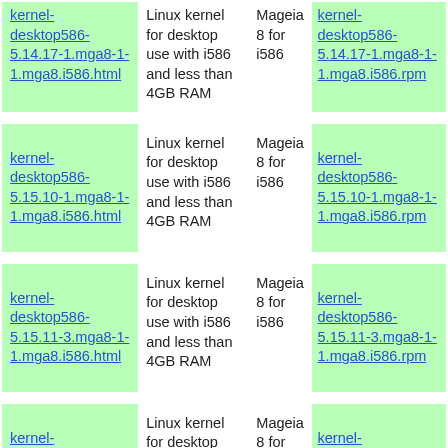| Package | Description | Arch | Download |
| --- | --- | --- | --- |
| kernel-desktop586-5.14.17-1.mga8-1-1.mga8.i586.html | Linux kernel for desktop use with i586 and less than 4GB RAM | Mageia 8 for i586 | kernel-desktop586-5.14.17-1.mga8-1-1.mga8.i586.rpm |
| kernel-desktop586-5.15.10-1.mga8-1-1.mga8.i586.html | Linux kernel for desktop use with i586 and less than 4GB RAM | Mageia 8 for i586 | kernel-desktop586-5.15.10-1.mga8-1-1.mga8.i586.rpm |
| kernel-desktop586-5.15.11-3.mga8-1-1.mga8.i586.html | Linux kernel for desktop use with i586 and less than 4GB RAM | Mageia 8 for i586 | kernel-desktop586-5.15.11-3.mga8-1-1.mga8.i586.rpm |
| kernel-desktop586-5.15.15-1.mga8-1-1.mga8.i586.html | Linux kernel for desktop use with i586 and less than 4GB RAM | Mageia 8 for i586 | kernel-desktop586-5.15.15-1.mga8-1-1.mga8.i586.rpm |
| (partial) | Linux kernel |  |  |